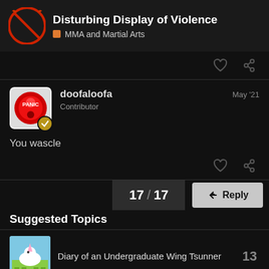Disturbing Display of Violence | MMA and Martial Arts
[Figure (screenshot): Forum post by doofaloofa, Contributor, May '21 saying 'You wascle']
17 / 17
Reply
Suggested Topics
Diary of an Undergraduate Wing Tsunner
13